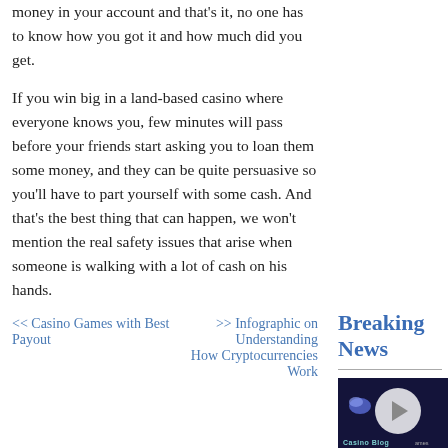money in your account and that's it, no one has to know how you got it and how much did you get.
If you win big in a land-based casino where everyone knows you, few minutes will pass before your friends start asking you to loan them some money, and they can be quite persuasive so you'll have to part yourself with some cash. And that's the best thing that can happen, we won't mention the real safety issues that arise when someone is walking with a lot of cash on his hands.
<< Casino Games with Best Payout   >> Infographic on Understanding How Cryptocurrencies Work
Breaking News
[Figure (photo): Casino Blog image with a circular back-to-top button overlay on a dark background with a gem graphic]
Bitco...